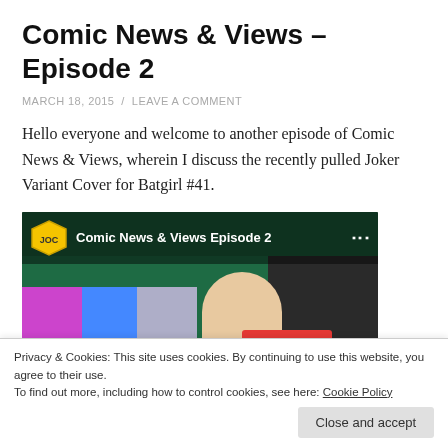Comic News & Views – Episode 2
MARCH 18, 2015 / LEAVE A COMMENT
Hello everyone and welcome to another episode of Comic News & Views, wherein I discuss the recently pulled Joker Variant Cover for Batgirl #41.
[Figure (screenshot): YouTube video thumbnail for 'Comic News & Views Episode 2' showing a logo on the left, title text, a person's face partially visible, a red play button bar, and a figure on the right against a dark background.]
Privacy & Cookies: This site uses cookies. By continuing to use this website, you agree to their use.
To find out more, including how to control cookies, see here: Cookie Policy
Close and accept